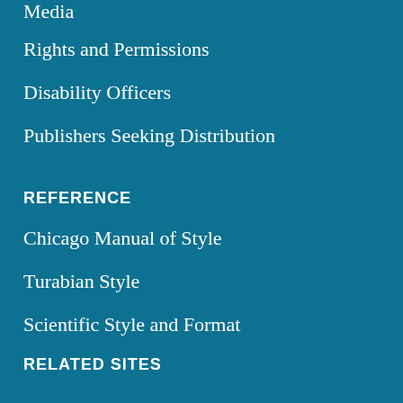Media
Rights and Permissions
Disability Officers
Publishers Seeking Distribution
REFERENCE
Chicago Manual of Style
Turabian Style
Scientific Style and Format
RELATED SITES
BiblioVault
Chicago Distribution Center
The University of Chicago